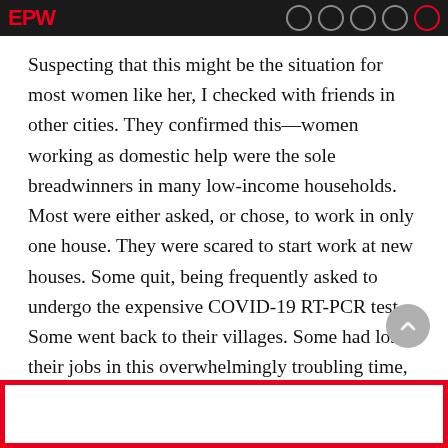EPW
Suspecting that this might be the situation for most women like her, I checked with friends in other cities. They confirmed this—women working as domestic help were the sole breadwinners in many low-income households. Most were either asked, or chose, to work in only one house. They were scared to start work at new houses. Some quit, being frequently asked to undergo the expensive COVID-19 RT-PCR test. Some went back to their villages. Some had lost their jobs in this overwhelmingly troubling time, ridden with worries and uncertainties in their already precarious existence.